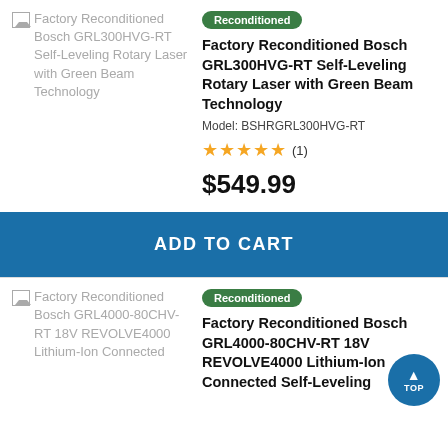[Figure (photo): Broken image placeholder for Factory Reconditioned Bosch GRL300HVG-RT Self-Leveling Rotary Laser with Green Beam Technology]
Reconditioned
Factory Reconditioned Bosch GRL300HVG-RT Self-Leveling Rotary Laser with Green Beam Technology
Model: BSHRGRL300HVG-RT
★★★★★ (1)
$549.99
ADD TO CART
[Figure (photo): Broken image placeholder for Factory Reconditioned Bosch GRL4000-80CHV-RT 18V REVOLVE4000 Lithium-Ion Connected]
Reconditioned
Factory Reconditioned Bosch GRL4000-80CHV-RT 18V REVOLVE4000 Lithium-Ion Connected Self-Leveling Cordless